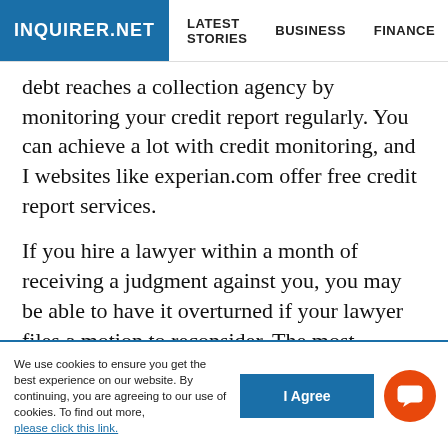INQUIRER.NET | LATEST STORIES | BUSINESS | FINANCE | TECHNOLO
debt reaches a collection agency by monitoring your credit report regularly. You can achieve a lot with credit monitoring, and I websites like experian.com offer free credit report services.
If you hire a lawyer within a month of receiving a judgment against you, you may be able to have it overturned if your lawyer files a motion to reconsider. The most important thing is to ensure that the debt collector has all the information needed to take the matter to court and await court judgment.
We use cookies to ensure you get the best experience on our website. By continuing, you are agreeing to our use of cookies. To find out more, please click this link.